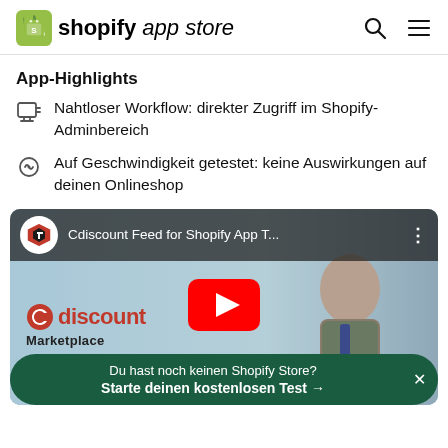[Figure (logo): Shopify App Store logo with green shopping bag icon, 'shopify' in bold italic and 'app store' in regular italic, plus search and hamburger menu icons]
App-Highlights
Nahtloser Workflow: direkter Zugriff im Shopify-Adminbereich
Auf Geschwindigkeit getestet: keine Auswirkungen auf deinen Onlineshop
[Figure (screenshot): YouTube video thumbnail for 'Cdiscount Feed for Shopify App T...' showing Cdiscount Marketplace and Shopify logos with a man in a suit, red YouTube play button overlay]
Du hast noch keinen Shopify Store?
Starte deinen kostenlosen Test →